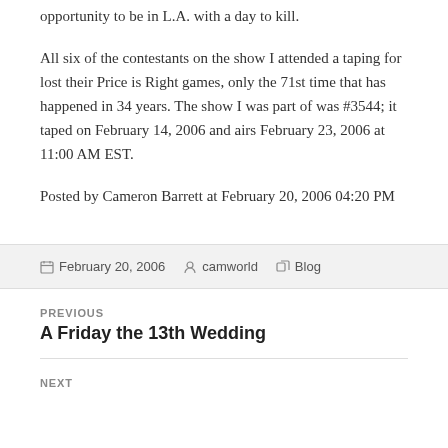opportunity to be in L.A. with a day to kill.
All six of the contestants on the show I attended a taping for lost their Price is Right games, only the 71st time that has happened in 34 years. The show I was part of was #3544; it taped on February 14, 2006 and airs February 23, 2006 at 11:00 AM EST.
Posted by Cameron Barrett at February 20, 2006 04:20 PM
February 20, 2006   camworld   Blog
PREVIOUS
A Friday the 13th Wedding
NEXT